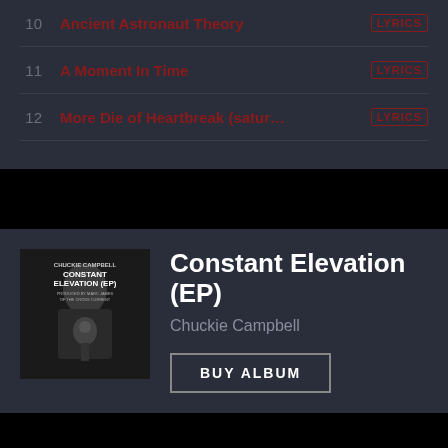10  Ancient Astronaut Theory   LYRICS
11  A Moment In Time   LYRICS
12  More Die of Heartbreak (satur...   LYRICS
[Figure (photo): Black and white album cover for 'Constant Elevation (EP)' by Chuckie Campbell, showing a person holding a microphone]
Constant Elevation (EP)
Chuckie Campbell
BUY ALBUM